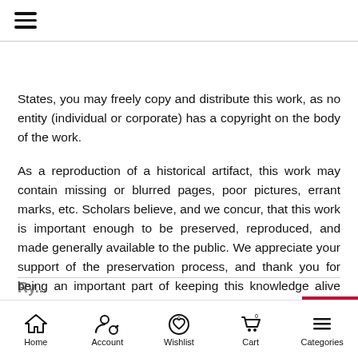☰ (hamburger menu icon)
States, you may freely copy and distribute this work, as no entity (individual or corporate) has a copyright on the body of the work.
As a reproduction of a historical artifact, this work may contain missing or blurred pages, poor pictures, errant marks, etc. Scholars believe, and we concur, that this work is important enough to be preserved, reproduced, and made generally available to the public. We appreciate your support of the preservation process, and thank you for being an important part of keeping this knowledge alive and relevant.
Home | Account | Wishlist | Cart | Categories